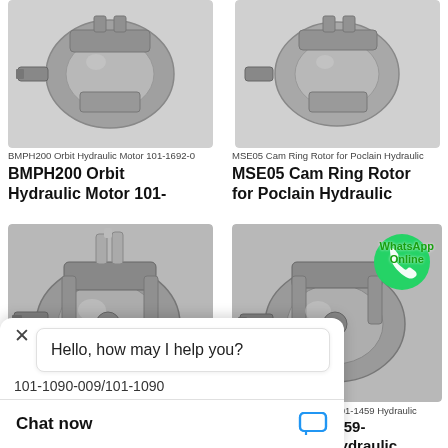[Figure (photo): BMPH200 Orbit Hydraulic Motor 101-1692-0 - grey metal hydraulic motor]
BMPH200 Orbit Hydraulic Motor 101-1692-0
BMPH200 Orbit Hydraulic Motor 101-
[Figure (photo): MSE05 Cam Ring Rotor for Poclain Hydraulic - grey metal hydraulic motor]
MSE05 Cam Ring Rotor for Poclain Hydraulic
MSE05 Cam Ring Rotor for Poclain Hydraulic
[Figure (photo): Large grey hydraulic motor with fittings - left column lower]
[Figure (photo): BMPH80 101-1459-009/101-1459 Hydraulic motor with WhatsApp Online badge]
BMPH80 101-1459-009/101-1459 Hydraulic
BMPH80 101-1459-009/101-1459 Hydraulic
101-1090-009/101-1090
Hello, how may I help you?
Chat now